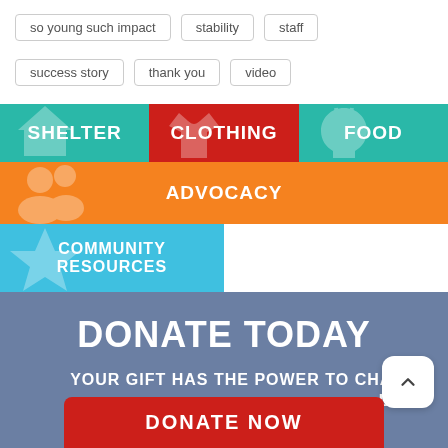so young such impact
stability
staff
success story
thank you
video
[Figure (infographic): Services grid with colored blocks: SHELTER (teal), CLOTHING (red), FOOD (teal), ADVOCACY (orange, wide), COMMUNITY RESOURCES (light blue, wide)]
DONATE TODAY
YOUR GIFT HAS THE POWER TO CHANGE LIVES
DONATE NOW